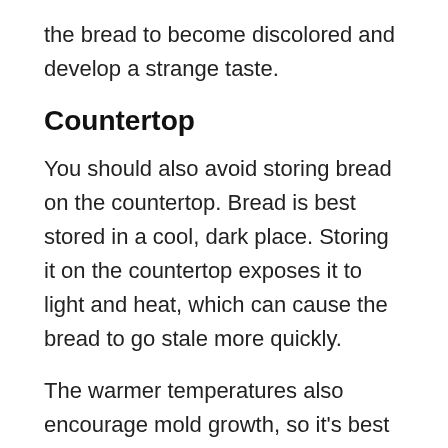the bread to become discolored and develop a strange taste.
Countertop
You should also avoid storing bread on the countertop. Bread is best stored in a cool, dark place. Storing it on the countertop exposes it to light and heat, which can cause the bread to go stale more quickly.
The warmer temperatures also encourage mold growth, so it’s best to avoid storing bread on the countertop if possible.
Anywhere Damp or Humid